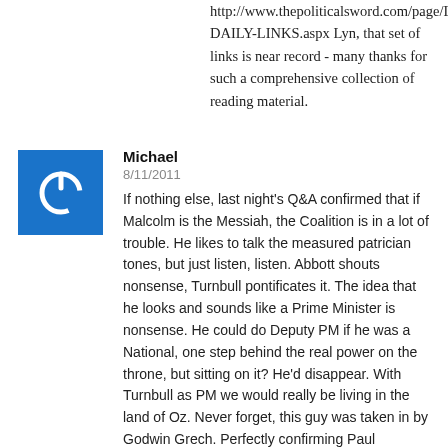http://www.thepoliticalsword.com/page/LYNS-DAILY-LINKS.aspx Lyn, that set of links is near record - many thanks for such a comprehensive collection of reading material.
[Figure (illustration): Blue square avatar with white power button icon]
Michael
8/11/2011
If nothing else, last night's Q&A confirmed that if Malcolm is the Messiah, the Coalition is in a lot of trouble. He likes to talk the measured patrician tones, but just listen, listen. Abbott shouts nonsense, Turnbull pontificates it. The idea that he looks and sounds like a Prime Minister is nonsense. He could do Deputy PM if he was a National, one step behind the real power on the throne, but sitting on it? He'd disappear. With Turnbull as PM we would really be living in the land of Oz. Never forget, this guy was taken in by Godwin Grech. Perfectly confirming Paul Keating's opinion of him that the man may be intelligent ("brilliant"), he may be determined